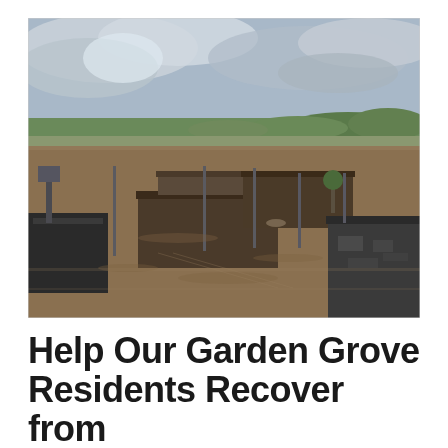[Figure (photo): Aerial view of severe flooding in Garden Grove. Brown floodwaters cover parking lots and surround commercial buildings with dark rooftops. Light poles protrude from the water. Green trees and hills visible in the background under an overcast grey sky.]
Help Our Garden Grove Residents Recover from the Heartbreak of Flooding